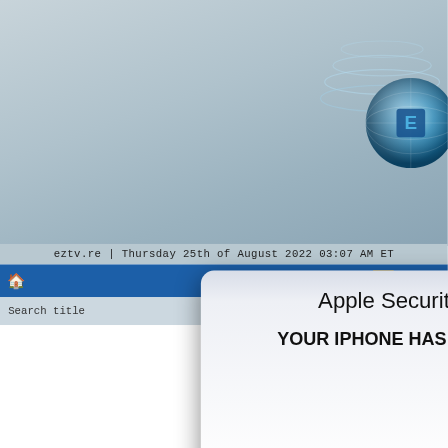[Figure (screenshot): Screenshot of eztv.re website with a pop-up modal alert dialog titled 'Apple Security' overlaid on top. The website header shows a globe logo and navigation bar. The page date reads 'eztv.re | Thursday 25th of August 2022 03:07 AM ET'. A blue navigation bar is visible with a home icon and Calendar link. A search title bar is shown below nav. The modal overlay reads 'Apple Security' as a title and 'YOUR IPHONE HAS BEEN COMPROMISED' as body text. A close X button appears at the right. The right edge shows partial yellow, blue sidebar content with text fragments 'se a', 'ur lo', 'agains', 'hiding', 'VPN no', '265-M', 'OAD TORR', 'DOWNL'.]